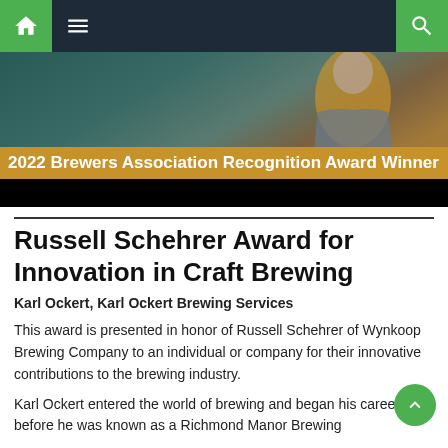Navigation bar with home, menu, and search icons
[Figure (photo): Hero image showing a person wearing a yellow/orange jacket against a teal/dark background, with a gold award banner reading '2022 Brewers Association Recognition Award Winner' and a black strip below]
Russell Schehrer Award for Innovation in Craft Brewing
Karl Ockert, Karl Ockert Brewing Services
This award is presented in honor of Russell Schehrer of Wynkoop Brewing Company to an individual or company for their innovative contributions to the brewing industry.
Karl Ockert entered the world of brewing and began his career before he was known as a Richmond Manor Brewing...